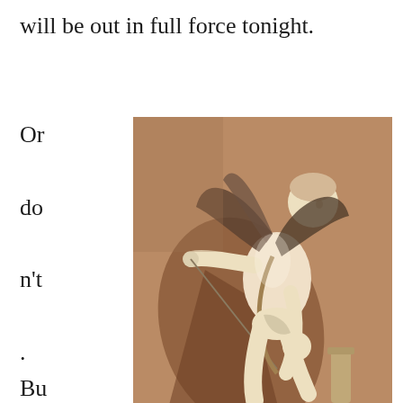will be out in full force tonight.
Or

do

n't

.
But

t

do

n't

em

ail

me

wh
[Figure (photo): A white marble sculpture of Cupid (Eros) with wings, holding a bow, seated in a dynamic pose against a stone wall background. The sculpture casts a dramatic shadow on the wall behind it.]